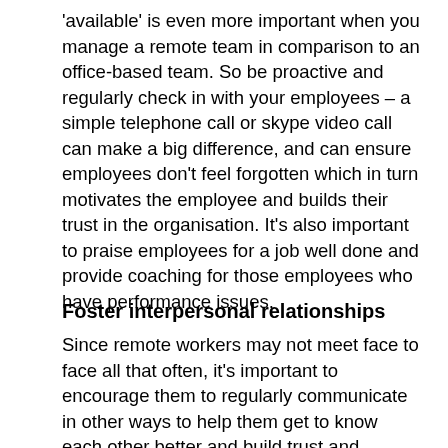'available' is even more important when you manage a remote team in comparison to an office-based team. So be proactive and regularly check in with your employees – a simple telephone call or skype video call can make a big difference, and can ensure employees don't feel forgotten which in turn motivates the employee and builds their trust in the organisation. It's also important to praise employees for a job well done and provide coaching for those employees who have performance issues.
Foster interpersonal relationships
Since remote workers may not meet face to face all that often, it's important to encourage them to regularly communicate in other ways to help them get to know each other better and build trust and rapport. Fortunately, we live in a technological age and there